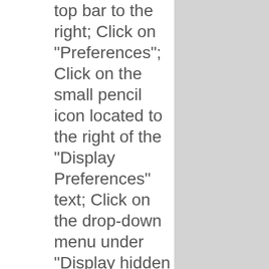top bar to the right; Click on "Preferences"; Click on the small pencil icon located to the right of the "Display Preferences" text; Click on the drop-down menu under "Display hidden documents" and select "Yes"; Click "Save & View"; On the top right corner, search for the hidden